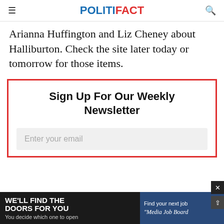POLITIFACT
Arianna Huffington and Liz Cheney about Halliburton. Check the site later today or tomorrow for those items.
Sign Up For Our Weekly Newsletter
Enter your email
[Figure (other): Advertisement banner: WE'LL FIND THE DOORS FOR YOU / You decide which one to open / Find your next job / Media Job Board]